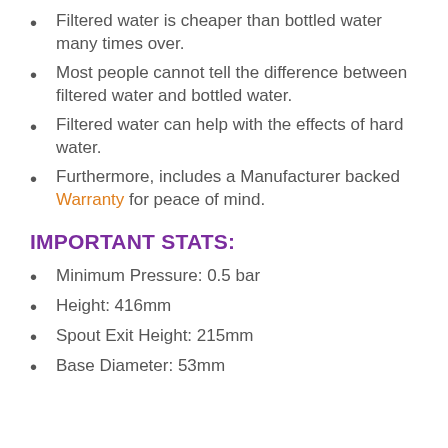Filtered water is cheaper than bottled water many times over.
Most people cannot tell the difference between filtered water and bottled water.
Filtered water can help with the effects of hard water.
Furthermore, includes a Manufacturer backed Warranty for peace of mind.
IMPORTANT STATS:
Minimum Pressure: 0.5 bar
Height: 416mm
Spout Exit Height: 215mm
Base Diameter: 53mm